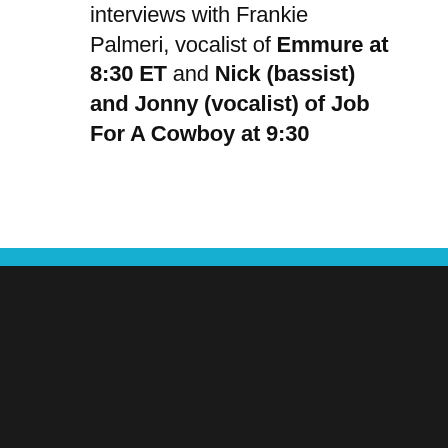interviews with Frankie Palmeri, vocalist of Emmure at 8:30 ET and Nick (bassist) and Jonny (vocalist) of Job For A Cowboy at 9:30 ET
COOKIE NOTICE
We utilize cookie technology to collect data regarding the number of visits a person has made to our site. This data is stored in aggregate form and is in no way singled out in an individual file. This information allows us to know what pages/sites are of interest to our users and what pages/sites may be of less interest. See more